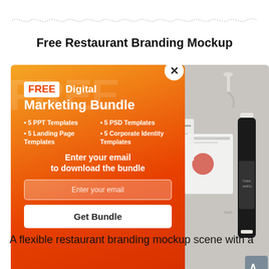Free Restaurant Branding Mockup
[Figure (screenshot): A popup overlay showing a FREE Digital Marketing Bundle advertisement on an orange gradient background, with a wine bottle mockup visible in the background on a gray wall. The popup includes bullet points listing 5 PPT Templates, 5 PSD Templates, 5 Landing Page Templates, 5 Corporate Identity Templates, an email input field, and a Get Bundle button. A close (X) button is visible.]
A flexible restaurant branding mockup scene with a